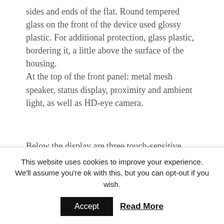sides and ends of the flat. Round tempered glass on the front of the device used glossy plastic. For additional protection, glass plastic, bordering it, a little above the surface of the housing. At the top of the front panel: metal mesh speaker, status display, proximity and ambient light, as well as HD-eye camera.
Below the display are three touch-sensitive keys, and barely noticeable mic hole at the interface between the glass and the plastic. Despite the fact that the earlier glass Gorilla Glass for
This website uses cookies to improve your experience. We'll assume you're ok with this, but you can opt-out if you wish.
Accept  Read More